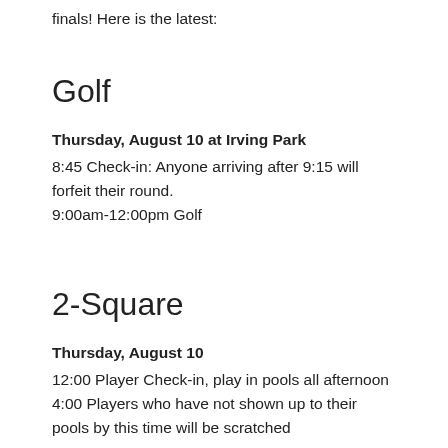finals! Here is the latest:
Golf
Thursday, August 10 at Irving Park
8:45 Check-in: Anyone arriving after 9:15 will forfeit their round.
9:00am-12:00pm Golf
2-Square
Thursday, August 10
12:00 Player Check-in, play in pools all afternoon
4:00 Players who have not shown up to their pools by this time will be scratched